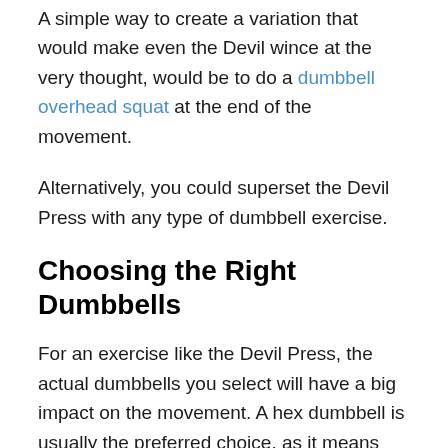A simple way to create a variation that would make even the Devil wince at the very thought, would be to do a dumbbell overhead squat at the end of the movement.
Alternatively, you could superset the Devil Press with any type of dumbbell exercise.
Choosing the Right Dumbbells
For an exercise like the Devil Press, the actual dumbbells you select will have a big impact on the movement. A hex dumbbell is usually the preferred choice, as it means there is a flat edge for you to do a push-up on.